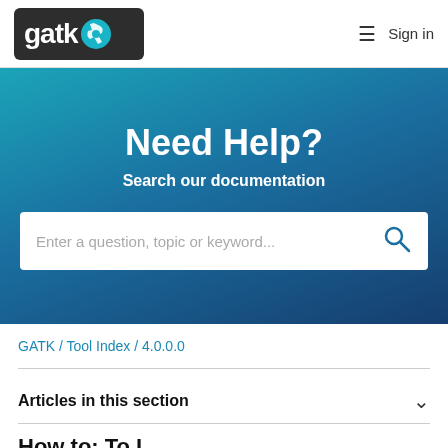[Figure (logo): GATK logo with wrench icon on dark background]
Sign in
[Figure (other): Hero banner with teal-to-dark-blue gradient background]
Need Help?
Search our documentation
Enter a question, topic or keyword...
GATK / Tool Index / 4.0.0.0
Articles in this section
How to: To I...